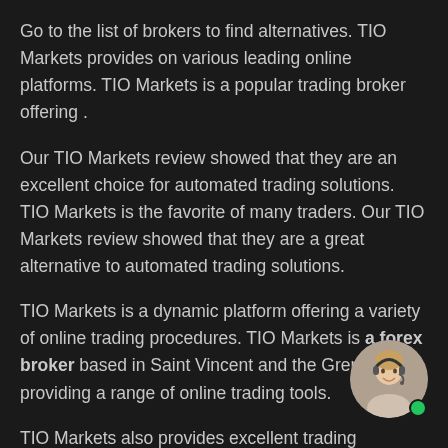Go to the list of brokers to find alternatives. TIO Markets provides on various leading online platforms. TIO Markets is a popular trading broker offering .
Our TIO Markets review showed that they are an excellent choice for automated trading solutions. TIO Markets is the favorite of many traders. Our TIO Markets review showed that they are a great alternative to automated trading solutions.
TIO Markets is a dynamic platform offering a variety of online trading procedures. TIO Markets is a forex broker based in Saint Vincent and the Grenadines providing a range of online trading tools.
[Figure (photo): Customer service representative avatar with headset, circular crop, with green online indicator dot]
TIO Markets also provides excellent trading conditions for elite institutional clients. A good broker provides